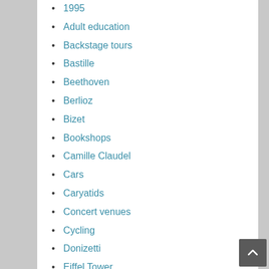1995
Adult education
Backstage tours
Bastille
Beethoven
Berlioz
Bizet
Bookshops
Camille Claudel
Cars
Caryatids
Concert venues
Cycling
Donizetti
Eiffel Tower
Einstein
Family history
Françoise d'Aubigné
Frankfurt Skyline Countdown
Gluck